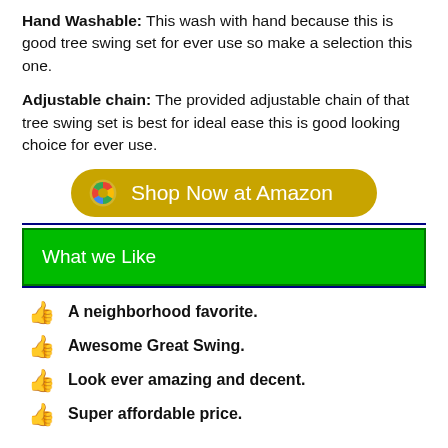Hand Washable: This wash with hand because this is good tree swing set for ever use so make a selection this one.
Adjustable chain: The provided adjustable chain of that tree swing set is best for ideal ease this is good looking choice for ever use.
[Figure (other): Shop Now at Amazon button with Google-style multi-color swirl logo on gold/yellow rounded pill button]
What we Like
A neighborhood favorite.
Awesome Great Swing.
Look ever amazing and decent.
Super affordable price.